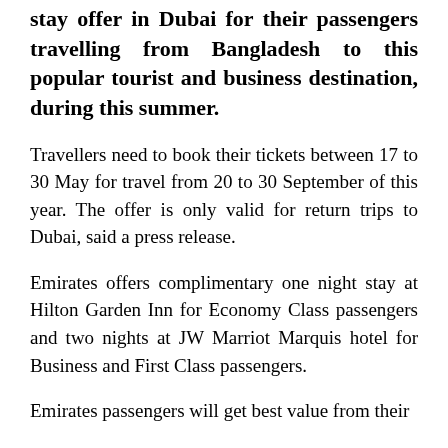stay offer in Dubai for their passengers travelling from Bangladesh to this popular tourist and business destination, during this summer.
Travellers need to book their tickets between 17 to 30 May for travel from 20 to 30 September of this year. The offer is only valid for return trips to Dubai, said a press release.
Emirates offers complimentary one night stay at Hilton Garden Inn for Economy Class passengers and two nights at JW Marriot Marquis hotel for Business and First Class passengers.
Emirates passengers will get best value from their